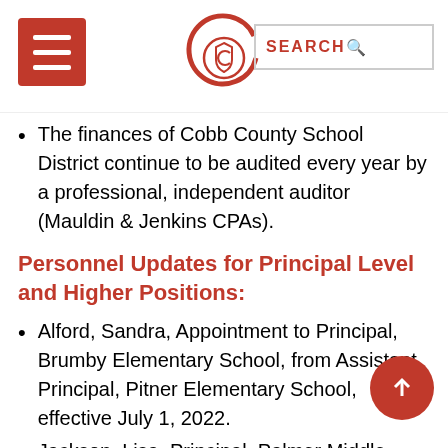Cobb County School District website header with menu, logo, and search
The finances of Cobb County School District continue to be audited every year by a professional, independent auditor (Mauldin & Jenkins CPAs).
Personnel Updates for Principal Level and Higher Positions:
Alford, Sandra, Appointment to Principal, Brumby Elementary School, from Assistant Principal, Pitner Elementary School, effective July 1, 2022.
Jackson, Lisa, Principal, Palmer Middle